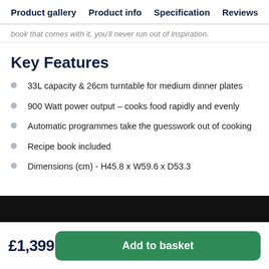Product gallery  Product info  Specification  Reviews
book that comes with it, you'll never run out of inspiration.
Key Features
33L capacity & 26cm turntable for medium dinner plates
900 Watt power output – cooks food rapidly and evenly
Automatic programmes take the guesswork out of cooking
Recipe book included
Dimensions (cm) - H45.8 x W59.6 x D53.3
£1,399
Add to basket